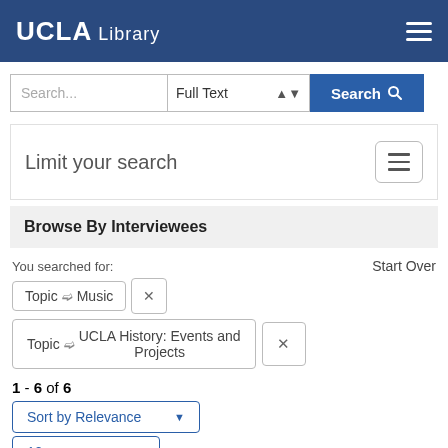UCLA Library
[Figure (screenshot): Search bar with 'Search...' placeholder, 'Full Text' dropdown, and 'Search' button]
Limit your search
Browse By Interviewees
You searched for:
Start Over
Topic > Music [remove]
Topic > UCLA History: Events and Projects [remove]
1 - 6 of 6
Sort by Relevance
10 per page